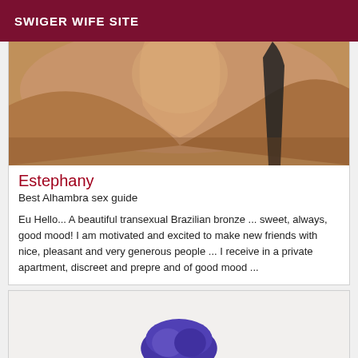SWIGER WIFE SITE
[Figure (photo): Close-up photo of a person's neck/chest area with a dark strap visible, warm skin tones]
Estephany
Best Alhambra sex guide
Eu Hello... A beautiful transexual Brazilian bronze ... sweet, always, good mood! I am motivated and excited to make new friends with nice, pleasant and very generous people ... I receive in a private apartment, discreet and prepre and of good mood ...
[Figure (photo): Partial photo showing the top of a person's head with blue/purple hair against a light background]